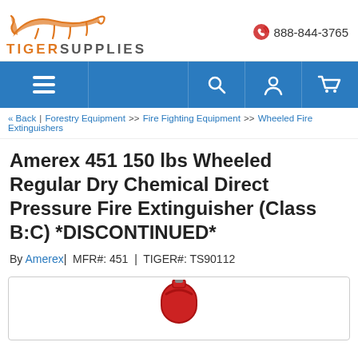[Figure (logo): Tiger Supplies logo: orange leaping tiger illustration above the text TIGERSUPPLIES]
888-844-3765
[Figure (infographic): Blue navigation bar with hamburger menu icon on left and search, user, and cart icons on the right]
« Back | Forestry Equipment >> Fire Fighting Equipment >> Wheeled Fire Extinguishers
Amerex 451 150 lbs Wheeled Regular Dry Chemical Direct Pressure Fire Extinguisher (Class B:C) *DISCONTINUED*
By Amerex| MFR#: 451 | TIGER#: TS90112
[Figure (photo): Partial image of a red wheeled fire extinguisher against a white background]